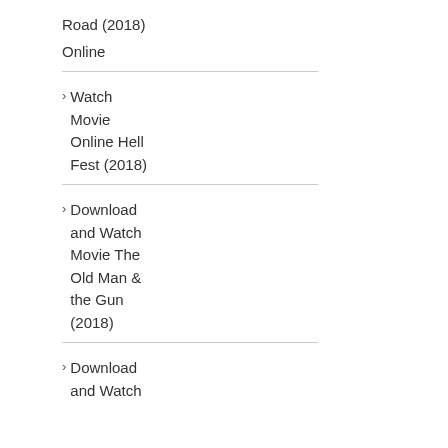Road (2018) Online
Watch Movie Online Hell Fest (2018)
Download and Watch Movie The Old Man & the Gun (2018)
Download and Watch